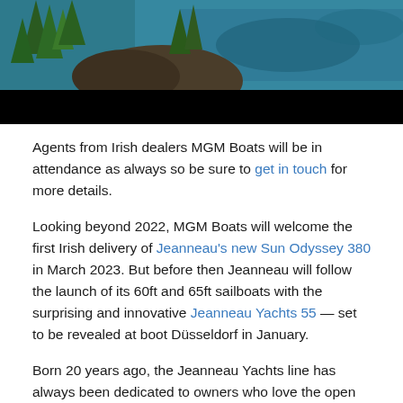[Figure (photo): Aerial or coastal photograph showing trees on rocky terrain with blue-green water in background, partially obscured by a black bar at the bottom of the image.]
Agents from Irish dealers MGM Boats will be in attendance as always so be sure to get in touch for more details.
Looking beyond 2022, MGM Boats will welcome the first Irish delivery of Jeanneau's new Sun Odyssey 380 in March 2023. But before then Jeanneau will follow the launch of its 60ft and 65ft sailboats with the surprising and innovative Jeanneau Yachts 55 — set to be revealed at boot Düsseldorf in January.
Born 20 years ago, the Jeanneau Yachts line has always been dedicated to owners who love the open waters and are seeking excellence in cruising and instinctive handling for complete peace of mind while sailing offshore.